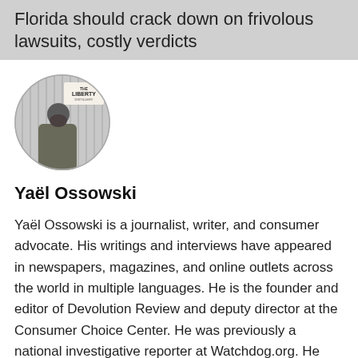Florida should crack down on frivolous lawsuits, costly verdicts
[Figure (photo): Circular profile photo of Yaël Ossowski standing in front of a Liberty Distillery sign on a striped wall, wearing a jacket.]
Yaël Ossowski
Yaël Ossowski is a journalist, writer, and consumer advocate. His writings and interviews have appeared in newspapers, magazines, and online outlets across the world in multiple languages. He is the founder and editor of Devolution Review and deputy director at the Consumer Choice Center. He was previously a national investigative reporter at Watchdog.org. He has a Master's Degree in Philosophy, Politics, Economics (PPE) from the